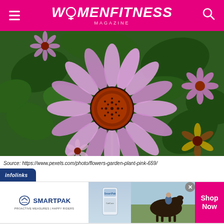WOMENFITNESS MAGAZINE
[Figure (photo): Close-up photo of a purple/pink coneflower (Echinacea) in bloom with a dark orange-red center, surrounded by green foliage and more flowers in the background]
Source: https://www.pexels.com/photo/flowers-garden-plant-pink-659/
[Figure (infographic): Infolinks advertisement banner featuring SmartPak logo, product image, horse and rider photo, '50% Off Two Months of ColiCare', 'ColiCare Eligible Supplements', 'CODE: COLICARE10', and a pink 'Shop Now' button]